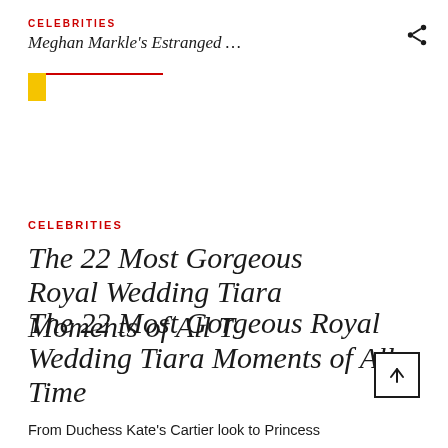CELEBRITIES
Meghan Markle's Estranged …
CELEBRITIES
The 22 Most Gorgeous Royal Wedding Tiara Moments of All Time
From Duchess Kate's Cartier look to Princess